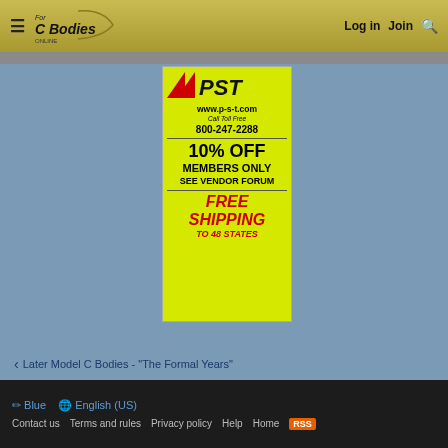For C Bodies Only - Log in | Join | Search
[Figure (advertisement): PST advertisement: yellow/green background with PST logo (red arrow), www.p-s-t.com, Call Toll Free 800-247-2288, 10% OFF MEMBERS ONLY SEE VENDOR FORUM, FREE SHIPPING TO 48 STATES]
< Later Model C Bodies - "The Formal Years"
Blue | English (US) | Contact us | Terms and rules | Privacy policy | Help | Home | RSS